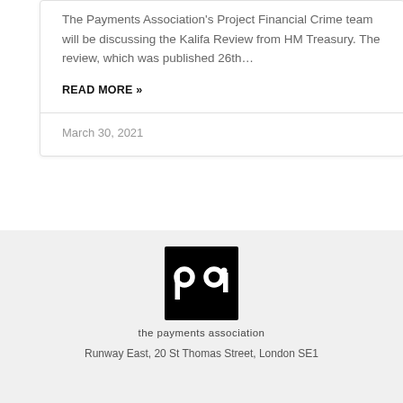The Payments Association's Project Financial Crime team will be discussing the Kalifa Review from HM Treasury. The review, which was published 26th…
READ MORE »
March 30, 2021
[Figure (logo): The Payments Association logo — black square containing white 'pa' letters, with tagline 'the payments association' below]
Runway East, 20 St Thomas Street, London SE1